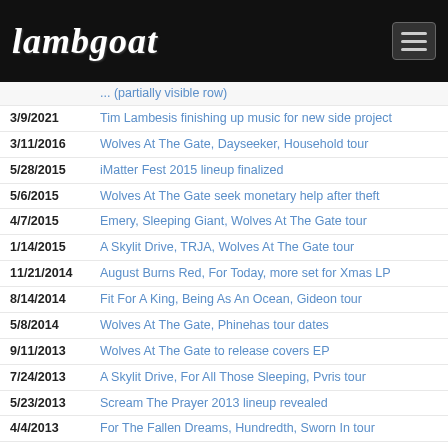[Figure (logo): Lambgoat logo with gothic lettering on black header bar]
3/9/2021  Tim Lambesis finishing up music for new side project
3/11/2016  Wolves At The Gate, Dayseeker, Household tour
5/28/2015  iMatter Fest 2015 lineup finalized
5/6/2015  Wolves At The Gate seek monetary help after theft
4/7/2015  Emery, Sleeping Giant, Wolves At The Gate tour
1/14/2015  A Skylit Drive, TRJA, Wolves At The Gate tour
11/21/2014  August Burns Red, For Today, more set for Xmas LP
8/14/2014  Fit For A King, Being As An Ocean, Gideon tour
5/8/2014  Wolves At The Gate, Phinehas tour dates
9/11/2013  Wolves At The Gate to release covers EP
7/24/2013  A Skylit Drive, For All Those Sleeping, Pvris tour
5/23/2013  Scream The Prayer 2013 lineup revealed
4/4/2013  For The Fallen Dreams, Hundredth, Sworn In tour
2/27/2013  Emery, The Seeking, Wolves At The Gate tour
1/24/2013  I The Breather, Wolves At The Gate tour dates
10/25/2012  Adestria, Wolves At The Gate, In Dying Arms tour